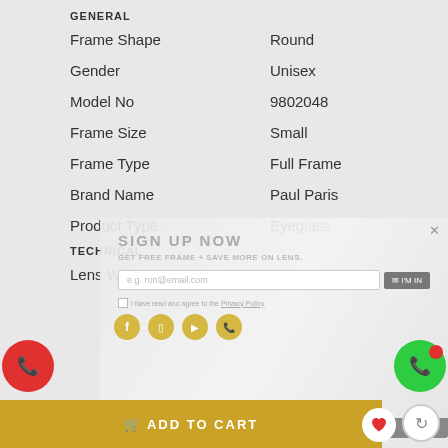GENERAL
| Attribute | Value |
| --- | --- |
| Frame Shape | Round |
| Gender | Unisex |
| Model No | 9802048 |
| Frame Size | Small |
| Frame Type | Full Frame |
| Brand Name | Paul Paris |
| Product Type | Eyeglass |
TECHNICAL
| Attribute | Value |
| --- | --- |
| Lens Width | 52 |
[Figure (screenshot): Sign up now popup overlay with email input, I'M IN button, social icons (Facebook, Instagram, YouTube, WhatsApp), privacy policy checkbox, and Don't show again bar]
ADD TO CART